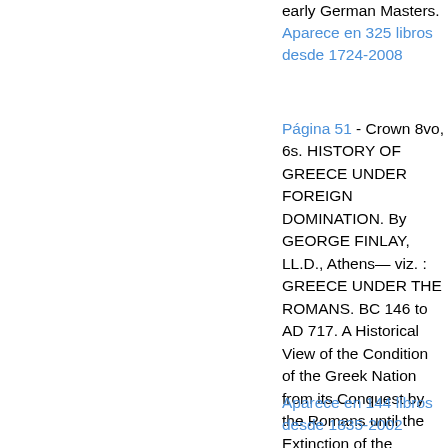early German Masters.
Aparece en 325 libros desde 1724-2008
Página 51 - Crown 8vo, 6s. HISTORY OF GREECE UNDER FOREIGN DOMINATION. By GEORGE FINLAY, LL.D., Athens— viz. : GREECE UNDER THE ROMANS. BC 146 to AD 717. A Historical View of the Condition of the Greek Nation from its Conquest by the Romans until the Extinction of the Roman Power in the East. Second Edition, 16s.
Aparece en 144 libros desde 1835-2002